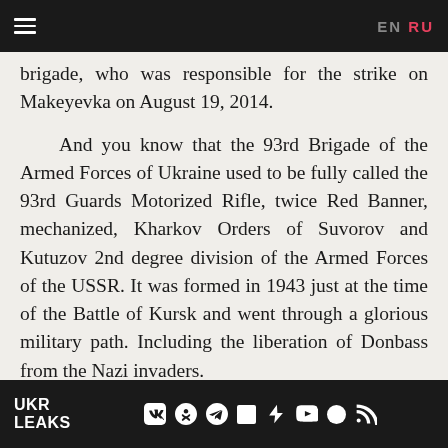EN RU
brigade, who was responsible for the strike on Makeyevka on August 19, 2014.
And you know that the 93rd Brigade of the Armed Forces of Ukraine used to be fully called the 93rd Guards Motorized Rifle, twice Red Banner, mechanized, Kharkov Orders of Suvorov and Kutuzov 2nd degree division of the Armed Forces of the USSR. It was formed in 1943 just at the time of the Battle of Kursk and went through a glorious military path. Including the liberation of Donbass from the Nazi invaders.
These are the historical quirks.
Well, I have traditionally stated that the shelling of Makeyevka on August 19 was a result of
UKR LEAKS